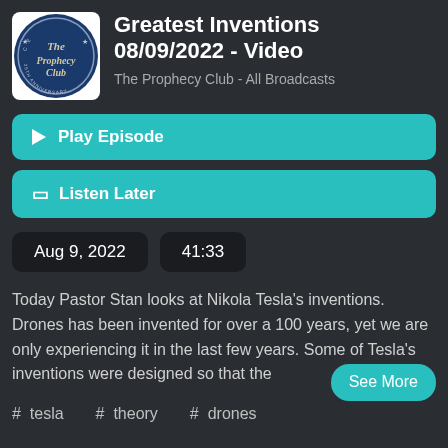[Figure (logo): The Prophecy Club circular logo with blue background and gothic text, 25th anniversary ring]
Greatest Inventions 08/09/2022 - Video
The Prophecy Club - All Broadcasts
▶ Play Episode
🔖 Listen Later
Aug 9, 2022
41:33
Today Pastor Stan looks at Nikola Tesla's inventions. Drones has been invented for over a 100 years, yet we are only experiencing it in the last few years. Some of Tesla's inventions were designed so that the
See More
# tesla
# theory
# drones